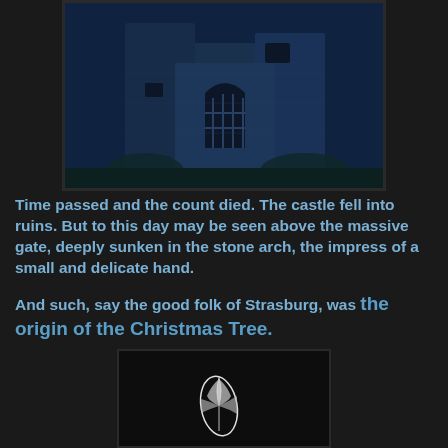[Figure (photo): Blue-tinted night photograph of a ruined stone castle with a large gate arch and tower, against a dark blue sky]
Time passed and the count died. The castle fell into ruins. But to this day may be seen above the massive gate, deeply sunken in the stone arch, the impress of a small and delicate hand.

And such, say the good folk of Strasburg, was the origin of the Christmas Tree.
[Figure (photo): Dark image showing a small white leaf or feather shape on a black background]